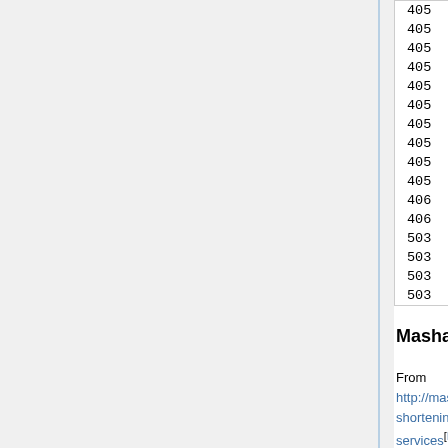| code | domain |
| --- | --- |
| 405 | read.bi |
| 405 | slate.me |
| 405 | tbd.ly |
| 405 | tcrn.ch |
| 405 | tgr.ph |
| 405 | tny.com |
| 405 | urls.im |
| 405 | usat.ly |
| 405 | wapo.st |
| 405 | yhoo.it |
| 406 | krunchd.com |
| 406 | tiniuri.com |
| 503 | mke.me |
| 503 | rurl.org |
| 503 | t.cn |
| 503 | yep.it |
Mashable
From http://mashable.com/2008/01/08/url-shortening-services[IA•Wcite•.today•MemWeb]